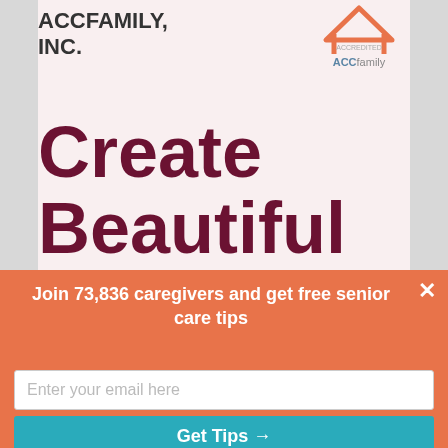ACCFAMILY, INC.
Create Beautiful Memories
Our Staff is Available 24/7
Join 73,836 caregivers and get free senior care tips
Enter your email here
Get Tips →